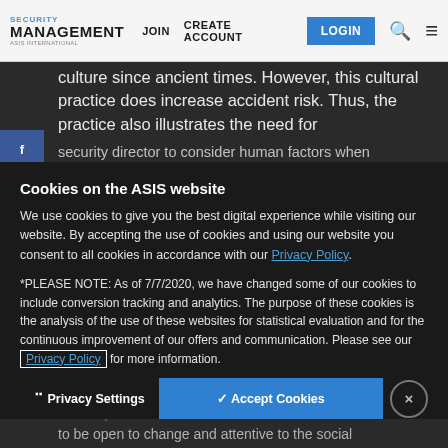SECURITY MANAGEMENT | JOIN | CREATE ACCOUNT | LOGIN
culture since ancient times. However, this cultural practice does increase accident risk. Thus, the practice also illustrates the need for security director to consider human factors when establishing safety and...
Cookies on the ASIS website
We use cookies to give you the best digital experience while visiting our website. By accepting the use of cookies and using our website you consent to all cookies in accordance with our Privacy Policy.
*PLEASE NOTE: As of 7/7/2020, we have changed some of our cookies to include conversion tracking and analytics. The purpose of these cookies is the analysis of the use of these websites for statistical evaluation and for the continuous improvement of our offers and communication. Please see our Privacy Policy for more information.
› Privacy Settings    ✓ Accept Cookies